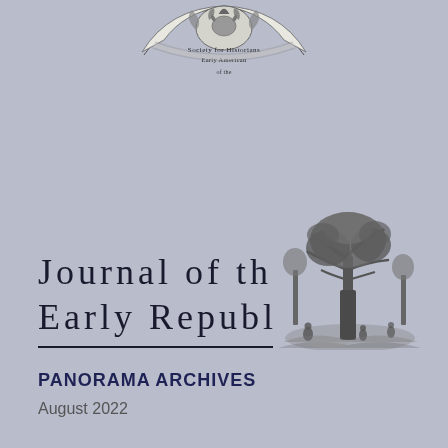[Figure (logo): Society for Historians of the Early American Republic circular banner logo with floral/eagle motif at top of page]
Journal of the Early Republic
[Figure (illustration): Black and white engraving vignette showing a pastoral scene with a large tree, figures, and landscape]
PANORAMA ARCHIVES
August 2022